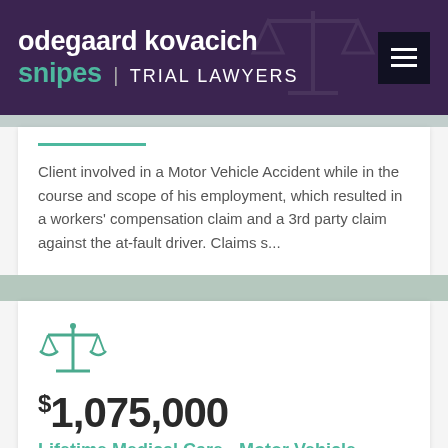odegaard kovacich snipes | TRIAL LAWYERS
Client involved in a Motor Vehicle Accident while in the course and scope of his employment, which resulted in a workers' compensation claim and a 3rd party claim against the at-fault driver. Claims s...
[Figure (illustration): Green scales of justice icon]
$1,075,000
Lifetime Medical Care - Motor Vehicle Acc...
LIVE CHAT | START NOW